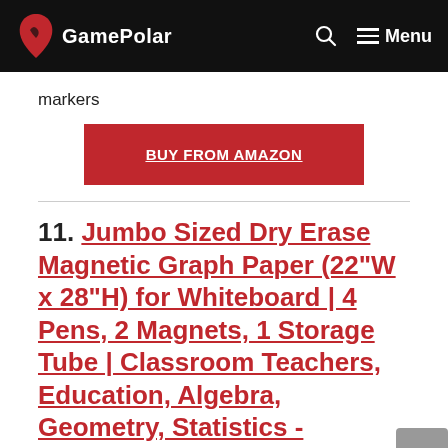GamePolar | Menu
markers
BUY FROM AMAZON
11. Jumbo Sized Dry Erase Magnetic Graph Paper (22"W x 28"H) for Whiteboard | 4 Pens, 2 Magnets, 1 Storage Tube | Classroom Teachers, Education, Algebra, Geometry, Statistics - Office Products